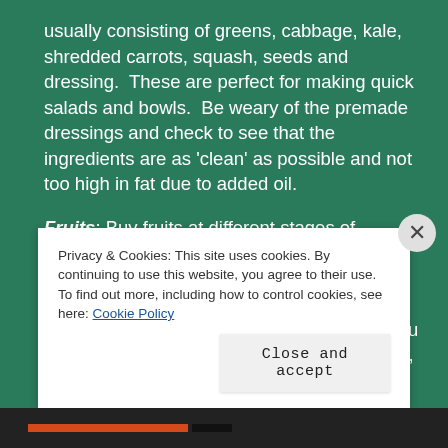usually consisting of greens, cabbage, kale, shredded carrots, squash, seeds and dressing.  These are perfect for making quick salads and bowls.  Be weary of the premade dressings and check to see that the ingredients are as 'clean' as possible and not too high in fat due to added oil.
Fruits: Buy fruits at different stages of ripeness so that you can eat some while others are ripening.  The great thing about fruits is they can be cut and frozen for future use in smoothies.  If they have a skin that you wouldn't typically eat, like bananas and kiwis, peel them before
Privacy & Cookies: This site uses cookies. By continuing to use this website, you agree to their use.
To find out more, including how to control cookies, see here: Cookie Policy